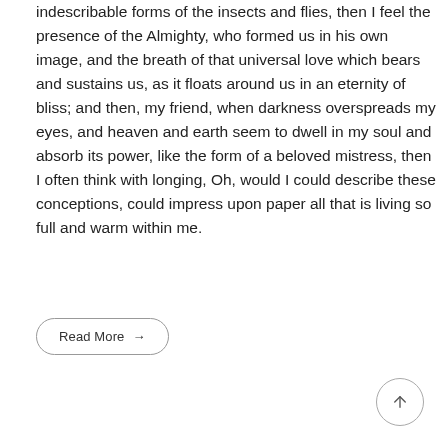indescribable forms of the insects and flies, then I feel the presence of the Almighty, who formed us in his own image, and the breath of that universal love which bears and sustains us, as it floats around us in an eternity of bliss; and then, my friend, when darkness overspreads my eyes, and heaven and earth seem to dwell in my soul and absorb its power, like the form of a beloved mistress, then I often think with longing, Oh, would I could describe these conceptions, could impress upon paper all that is living so full and warm within me.
Read More →